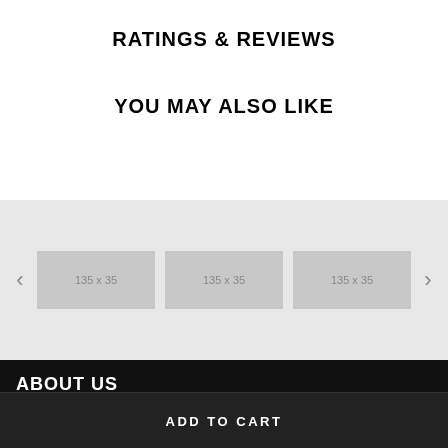RATINGS & REVIEWS
YOU MAY ALSO LIKE
[Figure (screenshot): Carousel with three placeholder image boxes each labeled '135 x 35', with left and right navigation arrows, on a light gray background]
ABOUT US
ADD TO CART